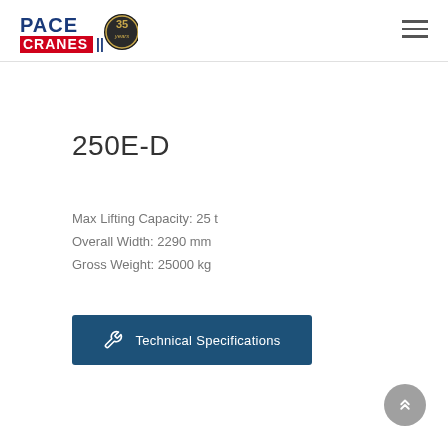Pace Cranes - 35 years logo and navigation
250E-D
Max Lifting Capacity: 25 t
Overall Width: 2290 mm
Gross Weight: 25000 kg
[Figure (other): Technical Specifications button with wrench icon]